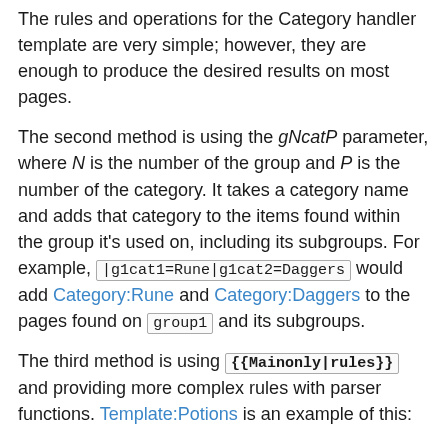The rules and operations for the Category handler template are very simple; however, they are enough to produce the desired results on most pages.
The second method is using the gNcatP parameter, where N is the number of the group and P is the number of the category. It takes a category name and adds that category to the items found within the group it's used on, including its subgroups. For example, |g1cat1=Rune|g1cat2=Daggers would add Category:Rune and Category:Daggers to the pages found on group1 and its subgroups.
The third method is using {{Mainonly|rules}} and providing more complex rules with parser functions. Template:Potions is an example of this: